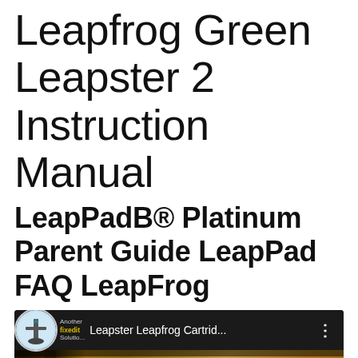Leapfrog Green Leapster 2 Instruction Manual
LeapPadB® Platinum Parent Guide LeapPad FAQ LeapFrog
[Figure (screenshot): YouTube video thumbnail showing a video titled 'Leapster Leapfrog Cartrid...' from the 'Another fixedit Solution' channel. The video thumbnail shows a dark close-up image of what appears to be a game cartridge inserted into a device against a brown/golden textured background.]